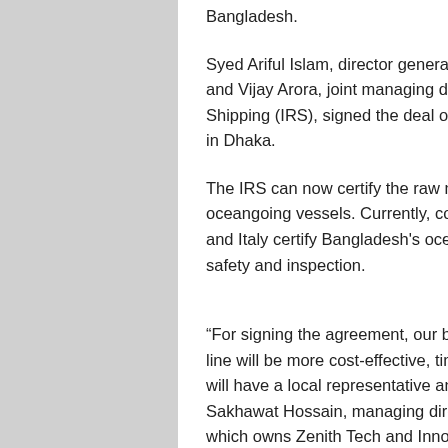Bangladesh.
Syed Ariful Islam, director general of the Department of Shipping and Vijay Arora, joint managing director of the Indian Registrar of Shipping (IRS), signed the deal on behalf of their respective sides in Dhaka.
The IRS can now certify the raw materials for shipbuilding and oceangoing vessels. Currently, companies from France, Germany and Italy certify Bangladesh's oceangoing vessels on shipbuilding, safety and inspection.
“For signing the agreement, our businesses through the coastal line will be more cost-effective, time saving and safe, as the IRS will have a local representative and can certify swiftly,” said Sakhawat Hossain, managing director of Western Marine Group, which owns Zenith Tech and Innovation Services (IRS)...